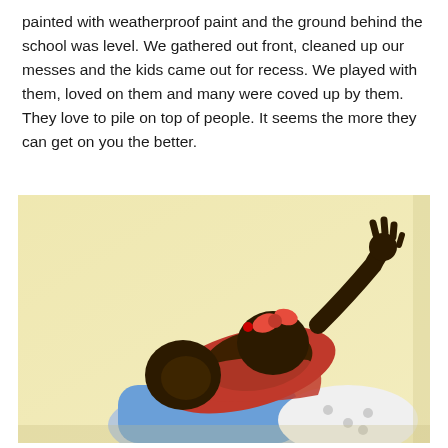painted with weatherproof paint and the ground behind the school was level. We gathered out front, cleaned up our messes and the kids came out for recess. We played with them, loved on them and many were coved up by them. They love to pile on top of people. It seems the more they can get on you the better.
[Figure (photo): Two young children playing against a pale yellow wall. One child is lying on top of the other, wearing a red outfit with a red hair accessory. One child has a hand raised up. The background is a light yellowish painted wall.]